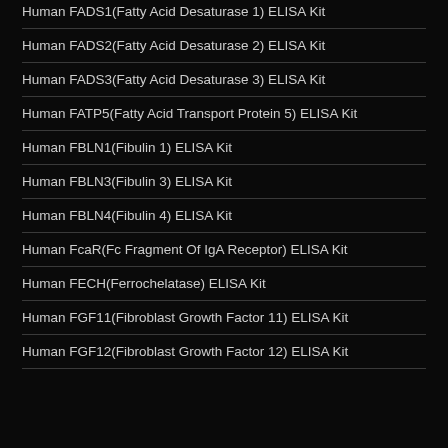Human FADS1(Fatty Acid Desaturase 1) ELISA Kit
Human FADS2(Fatty Acid Desaturase 2) ELISA Kit
Human FADS3(Fatty Acid Desaturase 3) ELISA Kit
Human FATP5(Fatty Acid Transport Protein 5) ELISA Kit
Human FBLN1(Fibulin 1) ELISA Kit
Human FBLN3(Fibulin 3) ELISA Kit
Human FBLN4(Fibulin 4) ELISA Kit
Human FcaR(Fc Fragment Of IgA Receptor) ELISA Kit
Human FECH(Ferrochelatase) ELISA Kit
Human FGF11(Fibroblast Growth Factor 11) ELISA Kit
Human FGF12(Fibroblast Growth Factor 12) ELISA Kit